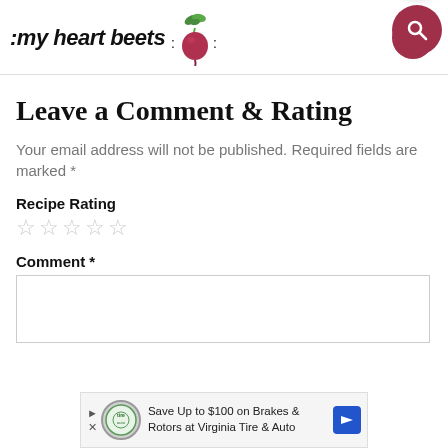[Figure (logo): my heart beets logo with stylized handwritten text and beet illustration]
Leave a Comment & Rating
Your email address will not be published. Required fields are marked *
Recipe Rating
☆☆☆☆☆
Comment *
[Figure (screenshot): Ad banner: Save Up to $100 on Brakes & Rotors at Virginia Tire & Auto]